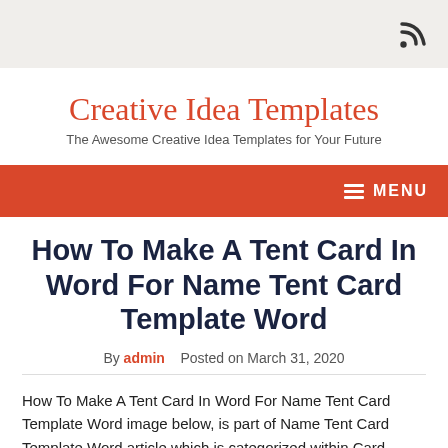RSS icon in top-right corner
Creative Idea Templates
The Awesome Creative Idea Templates for Your Future
MENU
How To Make A Tent Card In Word For Name Tent Card Template Word
By admin   Posted on March 31, 2020
How To Make A Tent Card In Word For Name Tent Card Template Word image below, is part of Name Tent Card Template Word article which is categorized within Card Template and published at March 31, 2020.